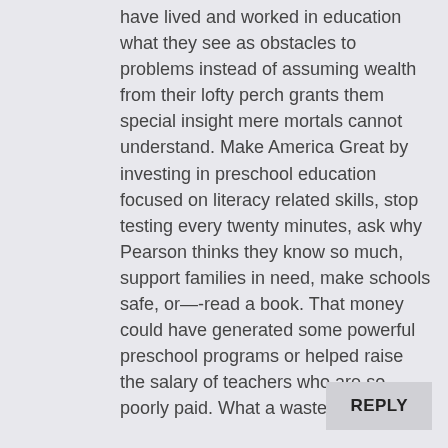have lived and worked in education what they see as obstacles to problems instead of assuming wealth from their lofty perch grants them special insight mere mortals cannot understand. Make America Great by investing in preschool education focused on literacy related skills, stop testing every twenty minutes, ask why Pearson thinks they know so much, support families in need, make schools safe, or—-read a book. That money could have generated some powerful preschool programs or helped raise the salary of teachers who are so poorly paid. What a waste!
REPLY